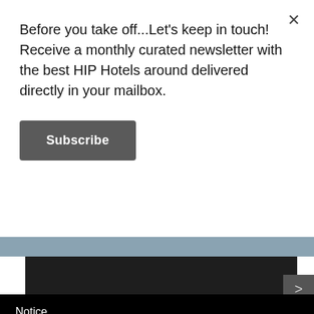Before you take off...Let's keep in touch! Receive a monthly curated newsletter with the best HIP Hotels around delivered directly in your mailbox.
Subscribe
[Figure (other): Dark/black rectangle representing a hotel image with a right-arrow navigation button]
Notice
This website or its third-party tools use cookies, which are necessary to its functioning and required to achieve the purposes illustrated in the cookie policy. If you want to know more or withdraw your consent to all or some of the cookies, please refer to the cookie policy.
By closing this banner, scrolling this page, clicking a link or continuing to browse otherwise, you agree to the use of cookies.